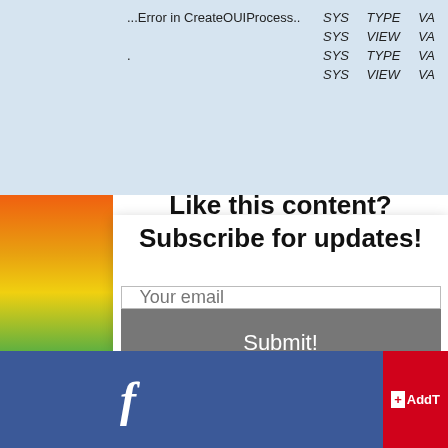[Figure (photo): Colorful heat-map style vertical image strip on the left side of the page showing a rainbow of colors from purple/red at top through orange, yellow, green, blue and back to dark red/purple at the bottom.]
| ...Error in CreateOUIProcess.. | SYS | TYPE | VAL |
|  | SYS | VIEW | VAL |
| . | SYS | TYPE | VAL |
|  | SYS | VIEW | VAL |
Like this content? Subscribe for updates!
Your email
Submit!